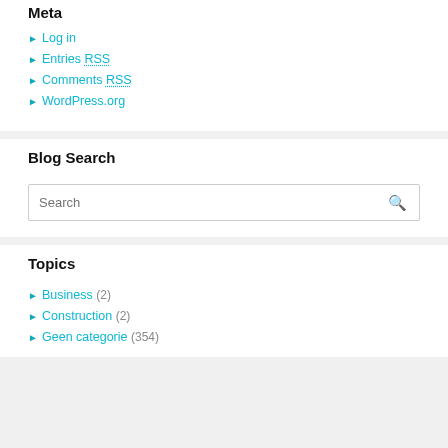Meta
Log in
Entries RSS
Comments RSS
WordPress.org
Blog Search
Search
Topics
Business (2)
Construction (2)
Geen categorie (354)